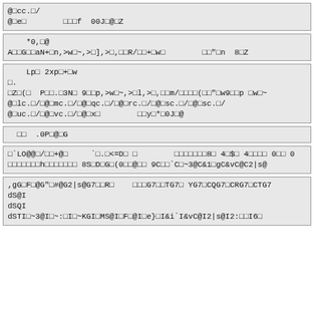@□cc.□/
@□e□        □□□f 00J□@□Z
*0,□@
A□□G□□aN+□n,>w□~,>□],>□,□□R/□□+□w□        □□"n 8□Z
Lp□ 2xp□+□w
□.
□Z□(□  P□□.□3N□ 9□□p,>w□~,>□l,>□,□□m/□□□□(□□"□w9□□p □w□~
@□lc.□/□@□mc.□/□@□qc.□/□@□rc.□/□@□sc.□/□@□sc.□/
@□uc.□/□@□vc.□/□@□x□        □□y□*□0J□@
□□  .0P□@□G
□`LO@@□/□□+@□     `□.□<=D□ □        □□□□□□□8□ 4□$□ 4□□□□ 0□□ 0
□□□□□□□h□□□□□□□ 8S□D□G□(□0□□@□□ 9C□□`C□~3@C&1□gC&vC@C2|s@
,gG□F□@G"□#@G2|s@G7□□R□    □□□G7□□TG7□□YG7□CQG7□CRG7□CTG7
dS@I
dSQI
dSTI□~3@I□~:□I□~KGI□MS@I□F□@I□e}□I&i`I&vC@I2|s@I2:□□I6□